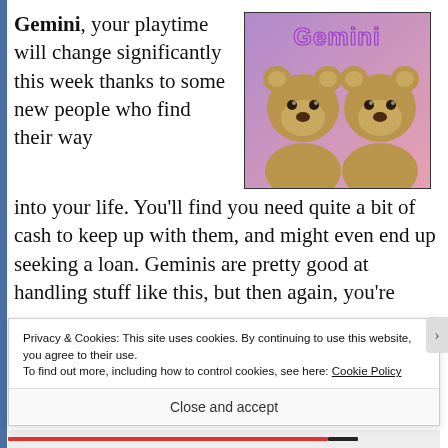Gemini, your playtime will change significantly this week thanks to some new people who find their way into your life. You'll find you need quite a bit of cash to keep up with them, and might even end up seeking a loan. Geminis are pretty good at handling stuff like this, but then again, you're
[Figure (illustration): Image of two brown teddy bears side by side on a purple-pink gradient background with the word 'Gemini' written in purple outlined letters at the top.]
Privacy & Cookies: This site uses cookies. By continuing to use this website, you agree to their use.
To find out more, including how to control cookies, see here: Cookie Policy
Close and accept